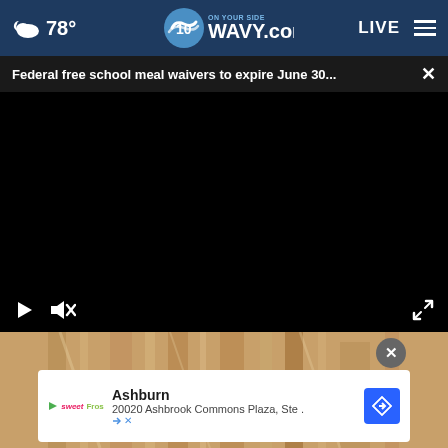☁ 78° | WAVY.com ON YOUR SIDE | LIVE
Federal free school meal waivers to expire June 30...  ×
[Figure (screenshot): Black video player with play and mute controls, fullscreen button in bottom right]
[Figure (photo): Background photo of wooden architectural elements, warm tan/brown tones]
Ashburn
20020 Ashbrook Commons Plaza, Ste .